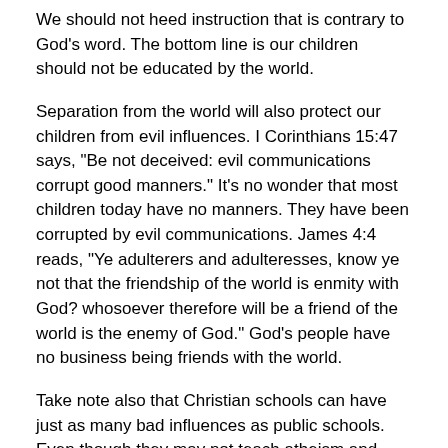We should not heed instruction that is contrary to God's word. The bottom line is our children should not be educated by the world.
Separation from the world will also protect our children from evil influences. I Corinthians 15:47 says, "Be not deceived: evil communications corrupt good manners." It's no wonder that most children today have no manners. They have been corrupted by evil communications. James 4:4 reads, "Ye adulterers and adulteresses, know ye not that the friendship of the world is enmity with God? whosoever therefore will be a friend of the world is the enemy of God." God's people have no business being friends with the world.
Take note also that Christian schools can have just as many bad influences as public schools. Even though they may not teach atheism and liberalism, they are full of children who are worldly. In many cases, the children who get expelled from public schools for being a problem end up in Christian schools. It is the responsibility of parents to guard their children against these evil associations.